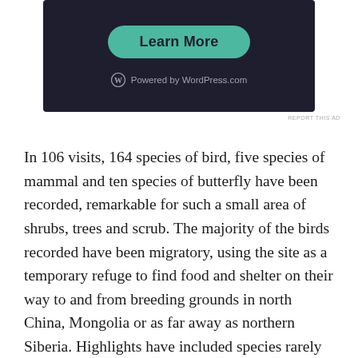[Figure (screenshot): Dark-themed advertisement box with a teal 'Learn More' button and 'Powered by WordPress.com' text at the bottom.]
REPORT THIS AD
In 106 visits, 164 species of bird, five species of mammal and ten species of butterfly have been recorded, remarkable for such a small area of shrubs, trees and scrub. The majority of the birds recorded have been migratory, using the site as a temporary refuge to find food and shelter on their way to and from breeding grounds in north China, Mongolia or as far away as northern Siberia. Highlights have included species rarely recorded in the capital, such as Band-bellied Crake, Himalayan Swiftlet and, just a few weeks ago, a probable sighting of the poorly-known Streaked Reed Warbler. In winter it was not uncommon to see